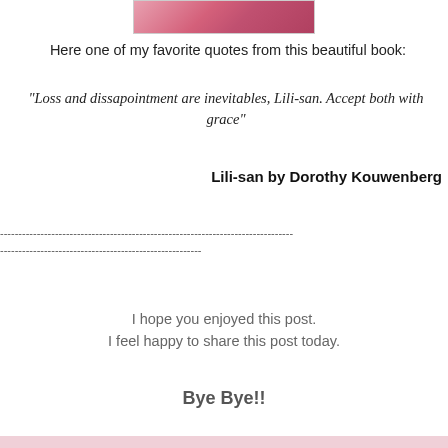[Figure (photo): Top portion of a book cover with pink/rose background with decorative swirls]
Here one of my favorite quotes from this beautiful book:
"Loss and dissapointment are inevitables, Lili-san. Accept both with grace"
Lili-san by Dorothy Kouwenberg
--------------------------------------------------------------------------------
-------------------------------------------------------
I hope you enjoyed this post.
I feel happy to share this post today.
Bye Bye!!